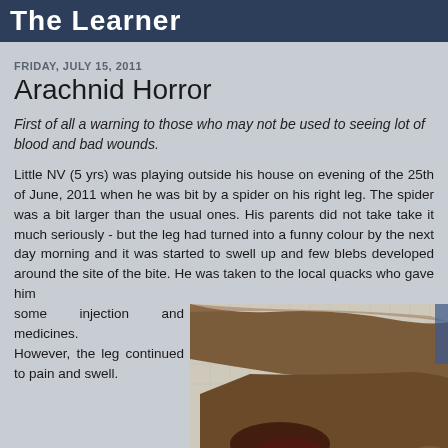The Learner
FRIDAY, JULY 15, 2011
Arachnid Horror
First of all a warning to those who may not be used to seeing lot of blood and bad wounds.
Little NV (5 yrs) was playing outside his house on evening of the 25th of June, 2011 when he was bit by a spider on his right leg. The spider was a bit larger than the usual ones. His parents did not take take it much seriously - but the leg had turned into a funny colour by the next day morning and it was started to swell up and few blebs developed around the site of the bite. He was taken to the local quacks who gave him some injection and medicines. However, the leg continued to pain and swell.
[Figure (photo): Photo of a child's injured leg showing swelling and discoloration from a spider bite]